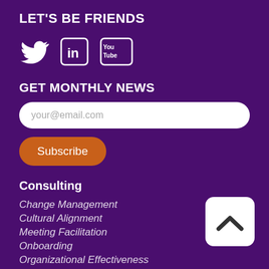LET'S BE FRIENDS
[Figure (illustration): Social media icons: Twitter bird, LinkedIn box, YouTube box]
GET MONTHLY NEWS
your@email.com
Subscribe
Consulting
Change Management
Cultural Alignment
Meeting Facilitation
Onboarding
Organizational Effectiveness
[Figure (other): Back to top button with upward chevron arrow on white rounded square background]